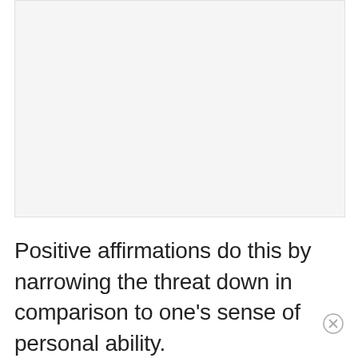[Figure (other): Empty light gray rectangular placeholder image area]
Positive affirmations do this by narrowing the threat down in comparison to one’s sense of personal ability.